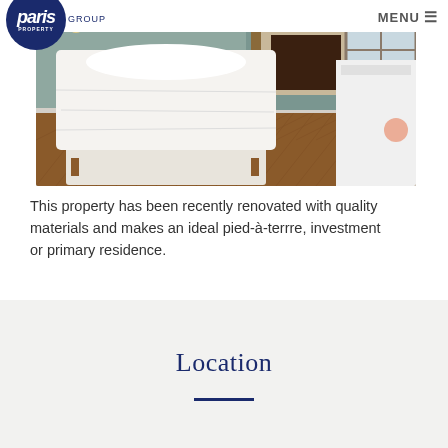paris PROPERTY GROUP | MENU
[Figure (photo): Interior bedroom photo showing a bed with white linens, herringbone parquet wood floors, fireplace, bookshelves, and a window with wrought-iron balcony railing. On the right side is a white bathroom vanity counter.]
This property has been recently renovated with quality materials and makes an ideal pied-à-terrre, investment or primary residence.
Location